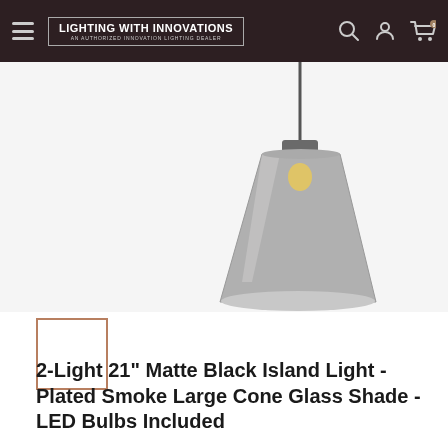LIGHTING WITH INNOVATIONS — AN AUTHORIZED INNOVATION LIGHTING DEALER
[Figure (photo): Two pendant lights with matte black hardware and large cone-shaped smoke-tinted glass shades, each with a visible Edison-style filament bulb, shown hanging against a white background.]
[Figure (photo): Small thumbnail image placeholder with a brownish border showing the same product.]
2-Light 21" Matte Black Island Light - Plated Smoke Large Cone Glass Shade - LED Bulbs Included